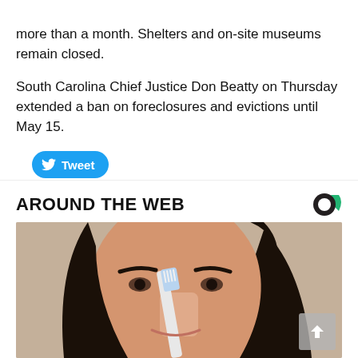more than a month. Shelters and on-site museums remain closed.
South Carolina Chief Justice Don Beatty on Thursday extended a ban on foreclosures and evictions until May 15.
[Figure (other): Tweet button (Twitter/X share button in blue rounded pill shape with bird icon and 'Tweet' label)]
AROUND THE WEB
[Figure (photo): Close-up photo of a woman with dark hair brushing her nose with a toothbrush, set against a neutral background.]